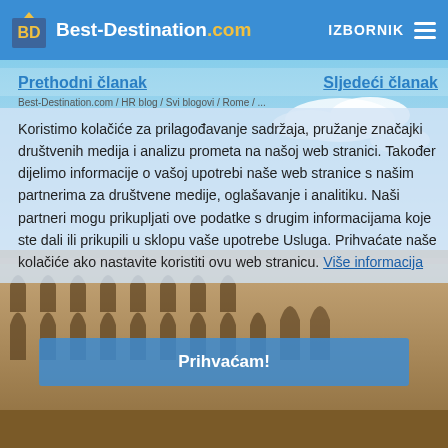Best-Destination.com  IZBORNIK
Prethodni članak   Sljedeći članak
Best-Destination.com / HR blog / Rome / (breadcrumb)
[Figure (photo): Background image of the Colosseum in Rome with blue sky]
Koristimo kolačiće za prilagođavanje sadržaja, pružanje značajki društvenih medija i analizu prometa na našoj web stranici. Također dijelimo informacije o vašoj upotrebi naše web stranice s našim partnerima za društvene medije, oglašavanje i analitiku. Naši partneri mogu prikupljati ove podatke s drugim informacijama koje ste dali ili prikupili u sklopu vaše upotrebe Usluga. Prihvaćate naše kolačiće ako nastavite koristiti ovu web stranicu. Više informacija
Prihvaćam!